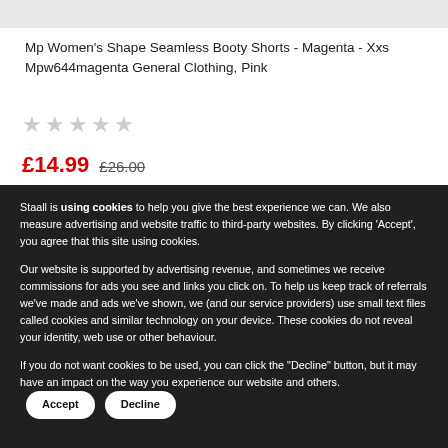[Figure (photo): Product image strip at top of page, light grey background]
Mp Women's Shape Seamless Booty Shorts - Magenta - Xxs Mpw644magenta General Clothing, Pink
[Figure (other): Five empty/grey star rating icons]
£14.99  £26.00
Staall is using cookies to help you give the best experience we can. We also measure advertising and website traffic to third-party websites. By clicking 'Accept', you agree that this site using cookies.
Our website is supported by advertising revenue, and sometimes we receive commissions for ads you see and links you click on. To help us keep track of referrals we've made and ads we've shown, we (and our service providers) use small text files called cookies and similar technology on your device. These cookies do not reveal your identity, web use or other behaviour.
If you do not want cookies to be used, you can click the "Decline" button, but it may have an impact on the way you experience our website and others.
Accept  Decline